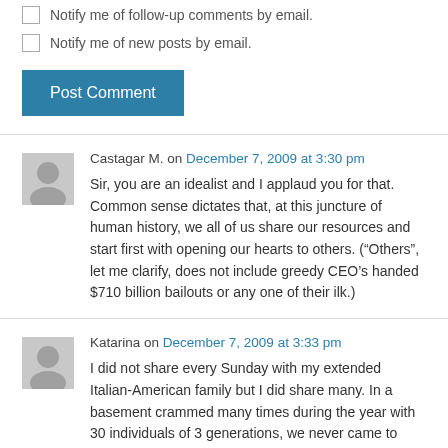Notify me of follow-up comments by email.
Notify me of new posts by email.
Post Comment
Castagar M. on December 7, 2009 at 3:30 pm
Sir, you are an idealist and I applaud you for that. Common sense dictates that, at this juncture of human history, we all of us share our resources and start first with opening our hearts to others. (“Others”, let me clarify, does not include greedy CEO’s handed $710 billion bailouts or any one of their ilk.)
Katarina on December 7, 2009 at 3:33 pm
I did not share every Sunday with my extended Italian-American family but I did share many. In a basement crammed many times during the year with 30 individuals of 3 generations, we never came to blows, ill words, or flared